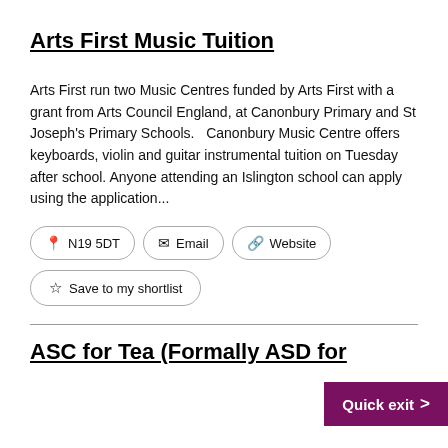Arts First Music Tuition
Arts First run two Music Centres funded by Arts First with a grant from Arts Council England, at Canonbury Primary and St Joseph's Primary Schools.   Canonbury Music Centre offers keyboards, violin and guitar instrumental tuition on Tuesday after school. Anyone attending an Islington school can apply using the application...
N19 5DT
Email
Website
Save to my shortlist
ASC for Tea (Formally ASD for Tea)